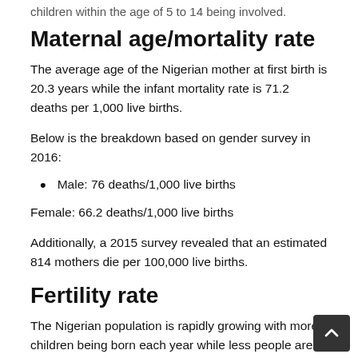children within the age of 5 to 14 being involved.
Maternal age/mortality rate
The average age of the Nigerian mother at first birth is 20.3 years while the infant mortality rate is 71.2 deaths per 1,000 live births.
Below is the breakdown based on gender survey in 2016:
Male: 76 deaths/1,000 live births
Female: 66.2 deaths/1,000 live births
Additionally, a 2015 survey revealed that an estimated 814 mothers die per 100,000 live births.
Fertility rate
The Nigerian population is rapidly growing with more children being born each year while less people are dying